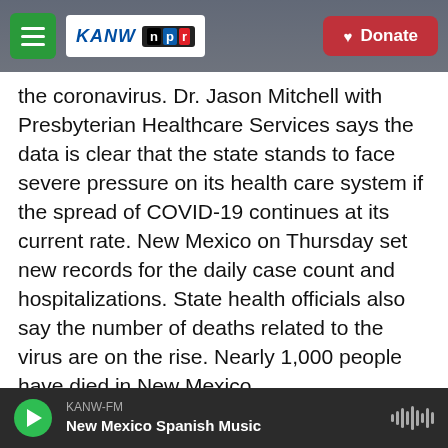KANW NPR — Donate
the coronavirus. Dr. Jason Mitchell with Presbyterian Healthcare Services says the data is clear that the state stands to face severe pressure on its health care system if the spread of COVID-19 continues at its current rate. New Mexico on Thursday set new records for the daily case count and hospitalizations. State health officials also say the number of deaths related to the virus are on the rise. Nearly 1,000 people have died in New Mexico.
ELECTION 2020-NEW MEXICO
SANTA FE, N.M. (AP) — New Mexico's top election
KANW-FM — New Mexico Spanish Music